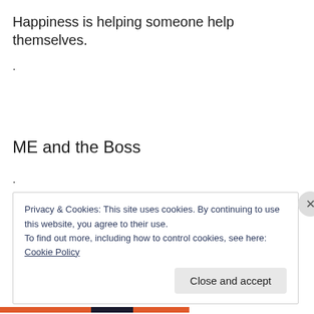Happiness is helping someone help themselves.
.
ME and the Boss
.
.
Privacy & Cookies: This site uses cookies. By continuing to use this website, you agree to their use.
To find out more, including how to control cookies, see here: Cookie Policy
Close and accept